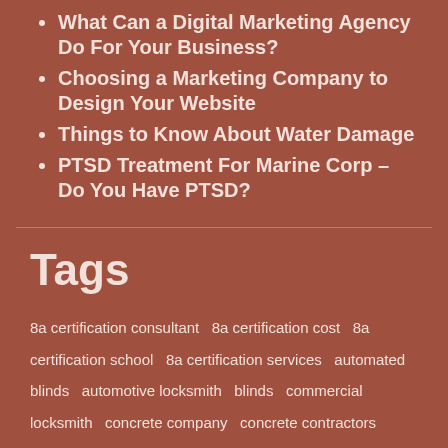What Can a Digital Marketing Agency Do For Your Business?
Choosing a Marketing Company to Design Your Website
Things to Know About Water Damage
PTSD Treatment For Marine Corp – Do You Have PTSD?
Tags
8a certification consultant  8a certification cost  8a certification school  8a certification services  automated blinds  automotive locksmith  blinds  commercial locksmith  concrete company  concrete contractors  concrete countertops  concrete polishing  construction exchange  delayed